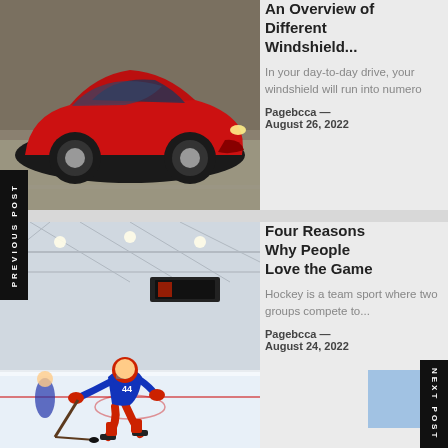[Figure (photo): Red sports car (Alfa Romeo 4C) driving on a road with blurred background]
An Overview of Different Windshield...
In your day-to-day drive, your windshield will run into numero
Pagebcca — August 26, 2022
[Figure (photo): Hockey player skating on an indoor ice rink]
Four Reasons Why People Love the Game
Hockey is a team sport where two groups compete to...
Pagebcca — August 24, 2022